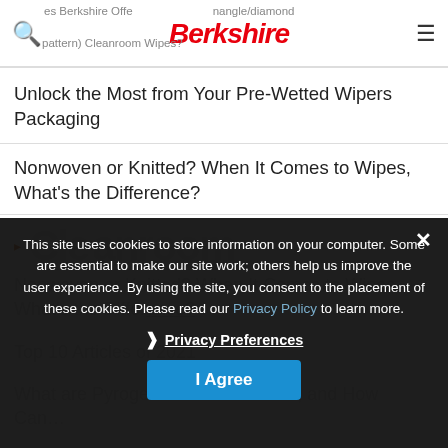Berkshire — navigation bar with search and menu icons
Does Berkshire Offer (triangle/diamond pattern) Cleanroom Wipes?
Unlock the Most from Your Pre-Wetted Wipers Packaging
Nonwoven or Knitted? When It Comes to Wipes, What's the Difference?
This site uses cookies to store information on your computer. Some are essential to make our site work; others help us improve the user experience. By using the site, you consent to the placement of these cookies. Please read our Privacy Policy to learn more.
❯ Privacy Preferences
I Agree
Nonwoven or Knitted? When It Comes to Wipes, What's the Difference?
Top 10 Articles of 2021
What are Pyrogens and Endotoxins, and How Can…